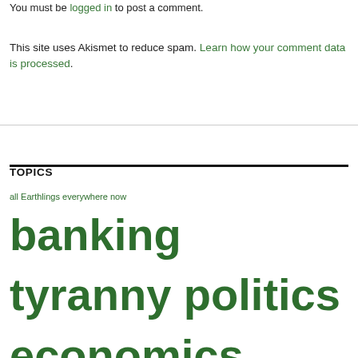You must be logged in to post a comment.
This site uses Akismet to reduce spam. Learn how your comment data is processed.
TOPICS
all Earthlings everywhere now banking tyranny politics economics circumcision depopulation Deus Ex Machina economy false flags Illuminati medical child abuse medical mayhem military mind control New World Order obstetrical abuse overseers include this in your reports pedogate revolution satanic ritual abuse Satanism satanism mind-control deprogramming send draft to all Illuminati members worldwide